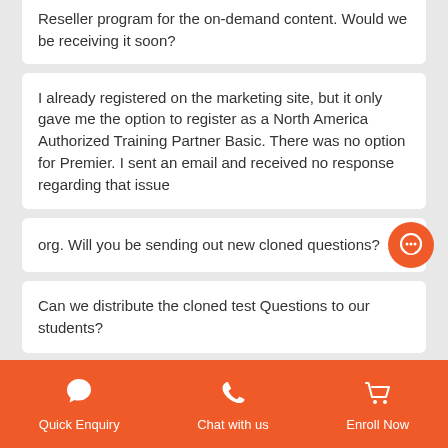Reseller program for the on-demand content. Would we be receiving it soon?
I already registered on the marketing site, but it only gave me the option to register as a North America Authorized Training Partner Basic. There was no option for Premier. I sent an email and received no response regarding that issue
org. Will you be sending out new cloned questions?
Can we distribute the cloned test Questions to our students?
Can the 200 cloned questions be provided in Excel so they can be uploaded into online LMS, instead of the Word document?
Are the Providers and PMP® courses available
Quick Enquiry   Chat with us   Enroll Now